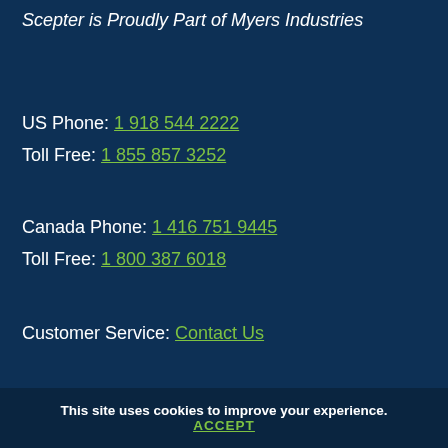Scepter is Proudly Part of Myers Industries
US Phone: 1 918 544 2222
Toll Free: 1 855 857 3252
Canada Phone: 1 416 751 9445
Toll Free: 1 800 387 6018
Customer Service: Contact Us
PRODUCTS   SAFETY
This site uses cookies to improve your experience.
ACCEPT